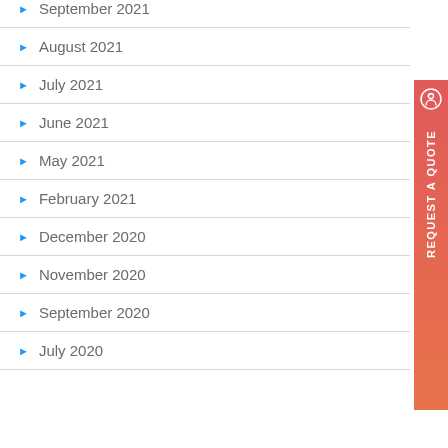September 2021
August 2021
July 2021
June 2021
May 2021
February 2021
December 2020
November 2020
September 2020
July 2020